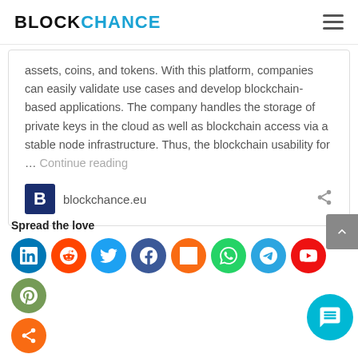BLOCKCHANCE
assets, coins, and tokens. With this platform, companies can easily validate use cases and develop blockchain-based applications. The company handles the storage of private keys in the cloud as well as blockchain access via a stable node infrastructure. Thus, the blockchain usability for … Continue reading
blockchance.eu
Spread the love